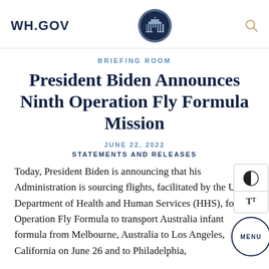WH.GOV
BRIEFING ROOM
President Biden Announces Ninth Operation Fly Formula Mission
JUNE 22, 2022
STATEMENTS AND RELEASES
Today, President Biden is announcing that his Administration is sourcing flights, facilitated by the U.S. Department of Health and Human Services (HHS), for Operation Fly Formula to transport Australia infant formula from Melbourne, Australia to Los Angeles, California on June 26 and to Philadelphia,